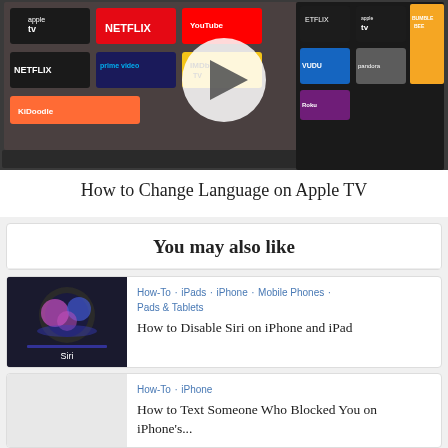[Figure (screenshot): Screenshot of an Apple TV home screen showing streaming app icons including Netflix, Apple TV, YouTube, Prime Video, Vudu, Roku, IMDb TV, and others. A large play/forward arrow button is overlaid in the center indicating a video thumbnail.]
How to Change Language on Apple TV
You may also like
[Figure (photo): Thumbnail image of Siri icon on dark background showing colorful Siri logo with 'Siri' text below]
How-To · iPads · iPhone · Mobile Phones · Pads & Tablets
How to Disable Siri on iPhone and iPad
How-To · iPhone
How to Text Someone Who Blocked You on iPhone's...
iPhone · How-To
How to Set Up Voicemail on iPhone